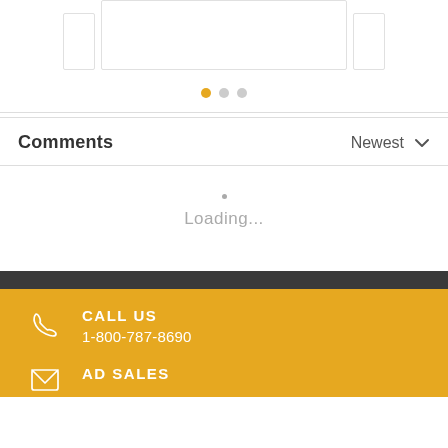[Figure (screenshot): Carousel partial cards (side cards and main card) at top of page]
[Figure (infographic): Carousel navigation dots: one orange active dot followed by two gray inactive dots]
Comments
Newest
Loading...
CALL US
1-800-787-8690
AD SALES